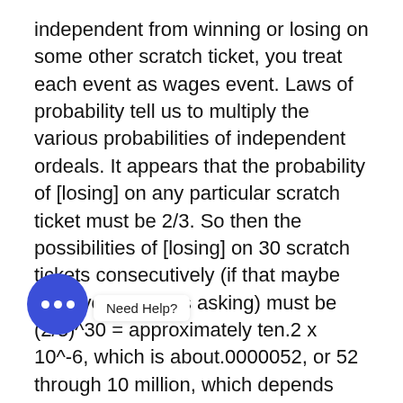independent from winning or losing on some other scratch ticket, you treat each event as wages event. Laws of probability tell us to multiply the various probabilities of independent ordeals. It appears that the probability of [losing] on any particular scratch ticket must be 2/3. So then the possibilities of [losing] on 30 scratch tickets consecutively (if that maybe what your issue is asking) must be (2/3)^30 = approximately ten.2 x 10^-6, which is about.0000052, or 52 through 10 million, which depends upon 1 chance out of 192,307.
First of all, online Pick 4 lottery provides you i Need Help? garding convenience. Imagine, you won't have to go away from the house at many. You can just sit pretty inside